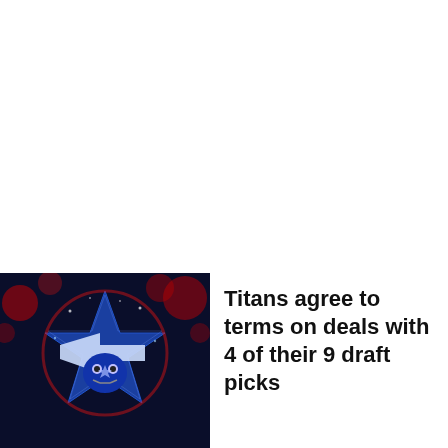[Figure (photo): Tennessee Titans logo/mascot — a glittery blue and red star-shaped helmet mascot figure against a dark blue background with red bokeh lights]
Titans agree to terms on deals with 4 of their 9 draft picks